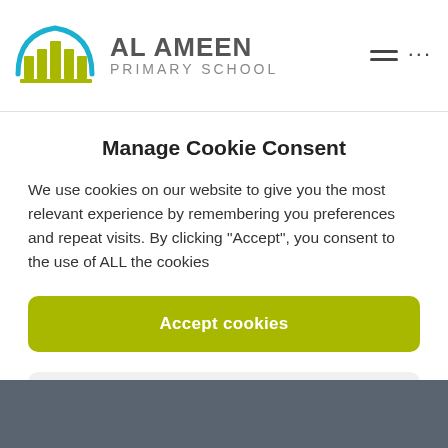AL AMEEN PRIMARY SCHOOL
Manage Cookie Consent
We use cookies on our website to give you the most relevant experience by remembering you preferences and repeat visits. By clicking "Accept", you consent to the use of ALL the cookies
Accept cookies
Deny
View preferences